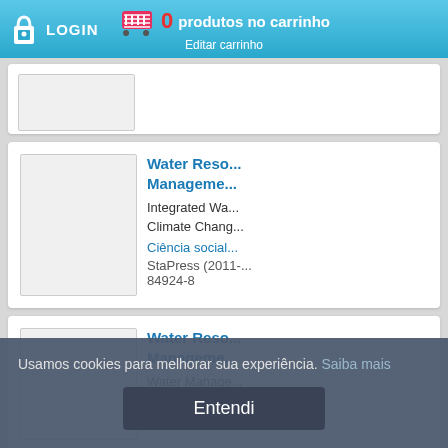LOGIN | 0 produtos no carrinho | Editar carrinho
[Figure (screenshot): Partial product card (top, cut off) with image placeholder]
Water Reso... Manageme...
Integrated Wa... Climate Chang... Ciência social... StaPress (2011-... 84924-8
Water Reso... Manageme...
Water Manage... Region of São... Ciência social...
Usamos cookies para melhorar sua experiência. Saiba mais
Entendi